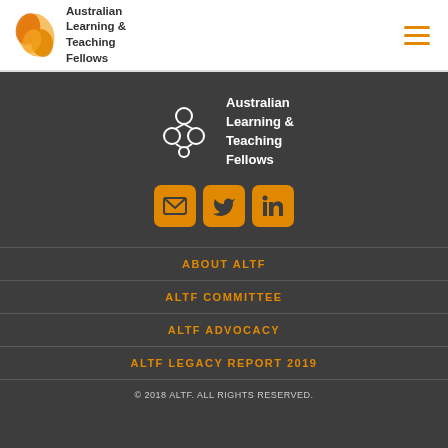Australian Learning & Teaching Fellows
[Figure (logo): Australian Learning and Teaching Fellows logo with white outlined molecule/butterfly icon and white text on dark background]
[Figure (illustration): Three orange social media icon buttons: email (envelope), Twitter (bird), LinkedIn (in)]
ABOUT ALTF
ALTF COMMITTEE
ALTF ADVOCACY
ALTF LEGACY REPORT 2019
© 2018 ALTF. ALL RIGHTS RESERVED.